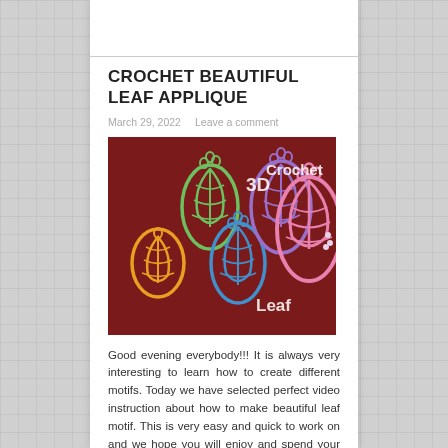CROCHET BEAUTIFUL LEAF APPLIQUE
March 29, 2022    Leave a comment
[Figure (photo): Photo of multiple colorful 3D crochet leaf applique motifs on a dark red background. Text on image reads '3D Crochet Leaf'. Colors include yellow/orange, green, blue, purple, and pink.]
Good evening everybody!!! It is always very interesting to learn how to create different motifs. Today we have selected perfect video instruction about how to make beautiful leaf motif. This is very easy and quick to work on and we hope you will enjoy and spend your free time with us.  This motif can be used in